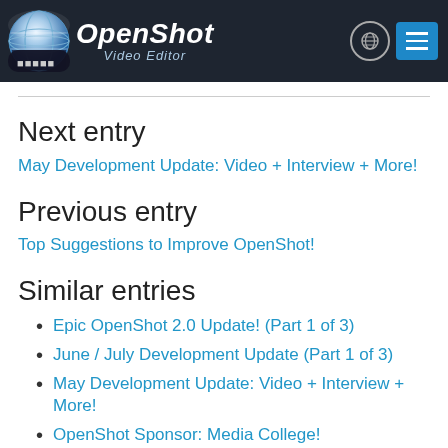[Figure (logo): OpenShot Video Editor logo with globe icon and hamburger menu button on dark navy header background]
Next entry
May Development Update: Video + Interview + More!
Previous entry
Top Suggestions to Improve OpenShot!
Similar entries
Epic OpenShot 2.0 Update! (Part 1 of 3)
June / July Development Update (Part 1 of 3)
May Development Update: Video + Interview + More!
OpenShot Sponsor: Media College!